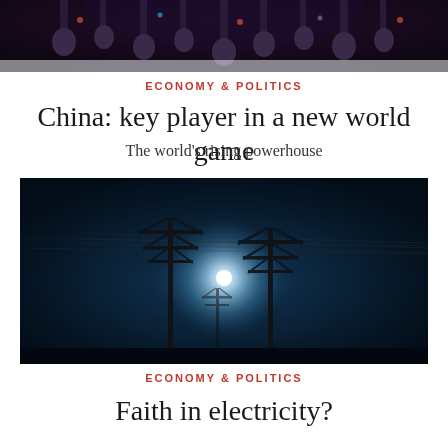[Figure (photo): Partially visible dark photo at top of page showing what appears to be a decorative or cultural scene with dark tones]
ECONOMY & POLITICS
China: key player in a new world game
The world's rising powerhouse
[Figure (photo): Night-time photograph of electrical power transmission towers/pylons silhouetted against a dark blue sky with a bright light source (possibly a light or moon) glowing between the towers]
ECONOMY & POLITICS
Faith in electricity?